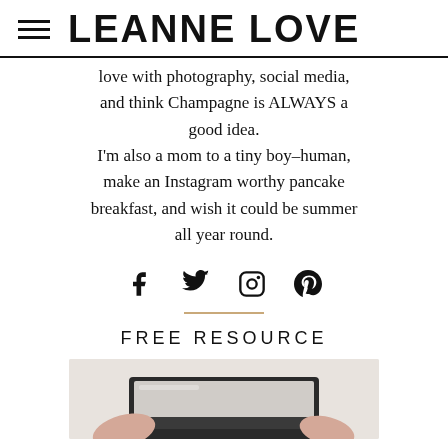LEANNE LOVE
love with photography, social media, and think Champagne is ALWAYS a good idea. I'm also a mom to a tiny boy–human, make an Instagram worthy pancake breakfast, and wish it could be summer all year round.
[Figure (infographic): Social media icons: Facebook, Twitter, Instagram, Pinterest]
FREE RESOURCE
[Figure (photo): Hands on a laptop keyboard, top-down view, flatlay style]